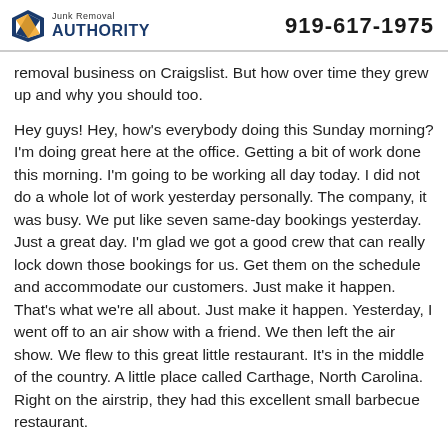Junk Removal AUTHORITY | 919-617-1975
removal business on Craigslist. But how over time they grew up and why you should too.
Hey guys! Hey, how's everybody doing this Sunday morning? I'm doing great here at the office. Getting a bit of work done this morning. I'm going to be working all day today. I did not do a whole lot of work yesterday personally. The company, it was busy. We put like seven same-day bookings yesterday. Just a great day. I'm glad we got a good crew that can really lock down those bookings for us. Get them on the schedule and accommodate our customers. Just make it happen. That's what we're all about. Just make it happen. Yesterday, I went off to an air show with a friend. We then left the air show. We flew to this great little restaurant. It's in the middle of the country. A little place called Carthage, North Carolina. Right on the airstrip, they had this excellent small barbecue restaurant.